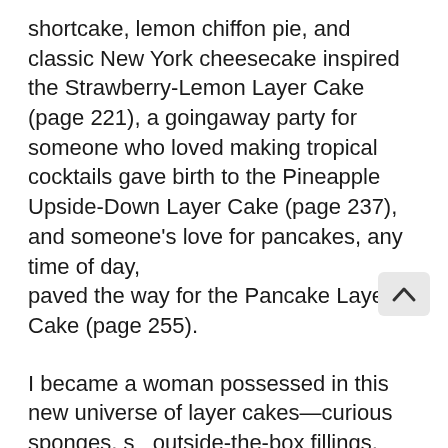shortcake, lemon chiffon pie, and classic New York cheesecake inspired the Strawberry-Lemon Layer Cake (page 221), a goingaway party for someone who loved making tropical cocktails gave birth to the Pineapple Upside-Down Layer Cake (page 237), and someone's love for pancakes, any time of day, paved the way for the Pancake Layer Cake (page 255).
I became a woman possessed in this new universe of layer cakes—curious sponges, so outside-the-box fillings, crumbs, crunches, ganache, unfrosted sides. Occasion by occasion, I baked my way into my now deep and abiding love of cake.
No one teaches you how to be prepared for the things you chase down in life. And so I never really